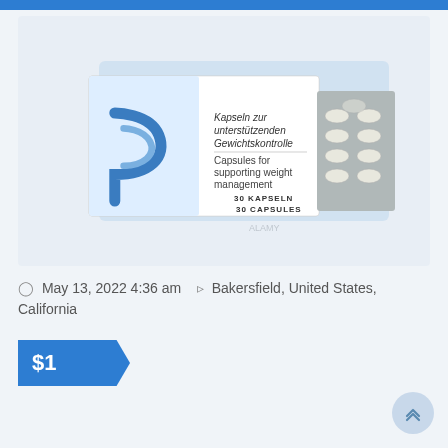[Figure (photo): Product photo of a white medication/supplement box labeled 'Kapseln zur unterstützenden Gewichtskontrolle / Capsules for supporting weight management, 30 Kapseln / 30 Capsules' with a blue P logo, shown with a blister pack of white capsules next to it, on a light blue background.]
May 13, 2022 4:36 am   Bakersfield, United States, California
$1